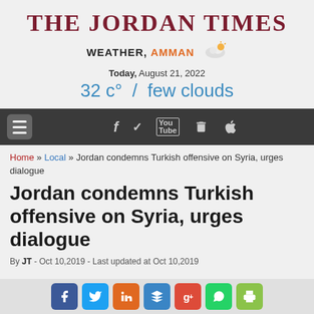THE JORDAN TIMES
WEATHER, AMMAN  Today, August 21, 2022  32 c° / few clouds
[Figure (screenshot): Navigation bar with hamburger menu icon and social/app icons (Facebook, Twitter, YouTube, Android, Apple) on dark background]
Home » Local » Jordan condemns Turkish offensive on Syria, urges dialogue
Jordan condemns Turkish offensive on Syria, urges dialogue
By JT - Oct 10,2019 - Last updated at Oct 10,2019
[Figure (screenshot): Social share bar with Facebook, Twitter, LinkedIn, Delicious, Google+, WhatsApp, and Print buttons]